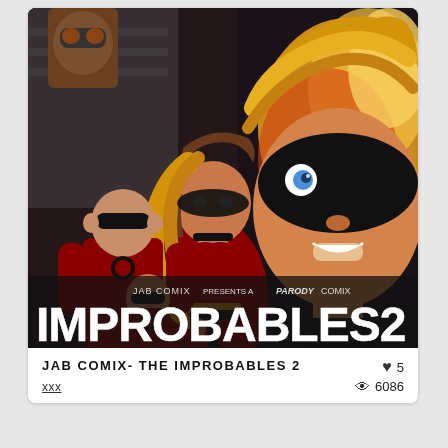[Figure (illustration): Comic book cover art for 'Improbables 2' by Jab Comix. Shows animated superhero characters in red suits. Central female character with long blonde hair, black mask, and torn red suit. Male character with black mask on left. Smaller character in front. Large close-up of masked face on right side. Explosion/fire background. Text reads 'JAB COMIX PRESENTS A PARODY COMIX' and 'IMPROBABLES 2' in large white letters at bottom.]
JAB COMIX- THE IMPROBABLES 2
xxx
5
6086